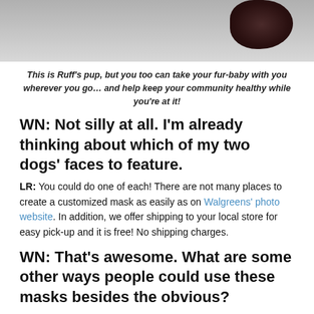[Figure (photo): Partial photo of a dog on a gray/white surface, cropped at top showing dark fur and food/treats]
This is Ruff's pup, but you too can take your fur-baby with you wherever you go… and help keep your community healthy while you're at it!
WN: Not silly at all. I'm already thinking about which of my two dogs' faces to feature.
LR: You could do one of each! There are not many places to create a customized mask as easily as on Walgreens' photo website. In addition, we offer shipping to your local store for easy pick-up and it is free! No shipping charges.
WN: That's awesome. What are some other ways people could use these masks besides the obvious?
LR: In the early stages of the pandemic, I read articles about how doctors and nurses were trying to maintain personal connections